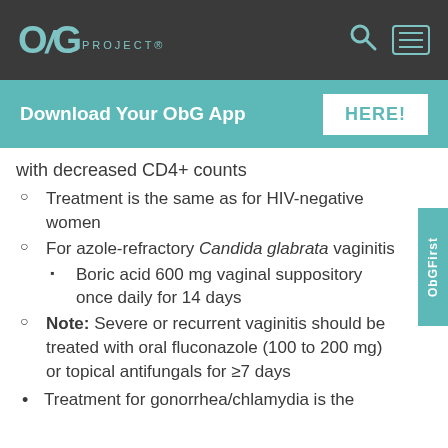OBG PROJECT®
Download Your ObG App HERE!
with decreased CD4+ counts
Treatment is the same as for HIV-negative women
For azole-refractory Candida glabrata vaginitis
Boric acid 600 mg vaginal suppository once daily for 14 days
Note: Severe or recurrent vaginitis should be treated with oral fluconazole (100 to 200 mg) or topical antifungals for ≥7 days
Treatment for gonorrhea/chlamydia is the